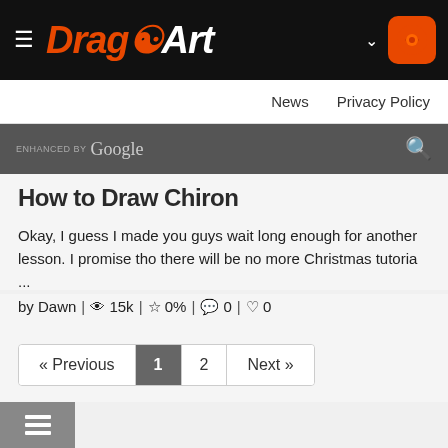DRAGOART
News | Privacy Policy
ENHANCED BY Google [search]
How to Draw Chiron
Okay, I guess I made you guys wait long enough for another lesson. I promise tho there will be no more Christmas tutoria ...
by Dawn | 15k | 0% | 0 | 0
« Previous  1  2  Next »
showing 1-24 of 25